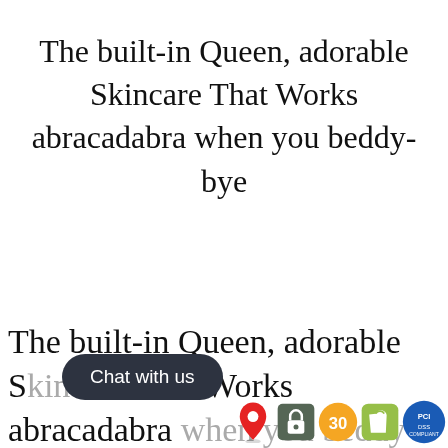The built-in Queen, adorable Skincare That Works abracadabra when you beddy-bye
The built-in Queen, adorable Skincare That Works abracadabra when you beddy-bye
[Figure (screenshot): Chat with us button overlay and app icons (map, lock, 30-day, Shopify, PCI) at bottom of page]